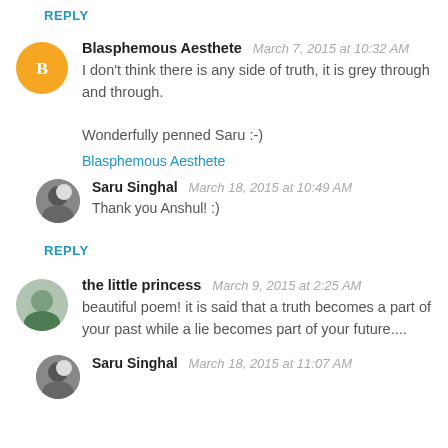REPLY
Blasphemous Aesthete  March 7, 2015 at 10:32 AM
I don't think there is any side of truth, it is grey through and through.

Wonderfully penned Saru :-)
Blasphemous Aesthete
Saru Singhal  March 18, 2015 at 10:49 AM
Thank you Anshul! :)
REPLY
the little princess  March 9, 2015 at 2:25 AM
beautiful poem! it is said that a truth becomes a part of your past while a lie becomes part of your future....
Saru Singhal  March 18, 2015 at 11:07 AM